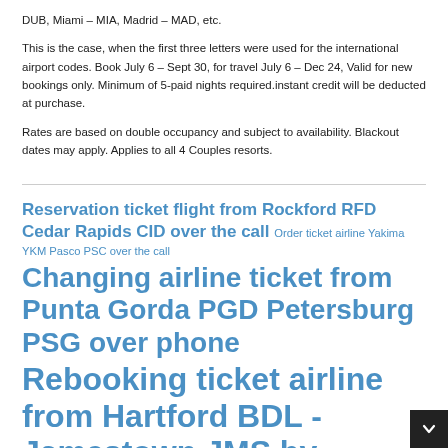DUB, Miami – MIA, Madrid – MAD, etc.
This is the case, when the first three letters were used for the international airport codes. Book July 6 – Sept 30, for travel July 6 – Dec 24, Valid for new bookings only. Minimum of 5-paid nights required.instant credit will be deducted at purchase.
Rates are based on double occupancy and subject to availability. Blackout dates may apply. Applies to all 4 Couples resorts.
Reservation ticket flight from Rockford RFD Cedar Rapids CID over the call Order ticket airline Yakima YKM Pasco PSC over the call Changing airline ticket from Punta Gorda PGD Petersburg PSG over phone Rebooking ticket airline from Hartford BDL - Jamestown JMS by...